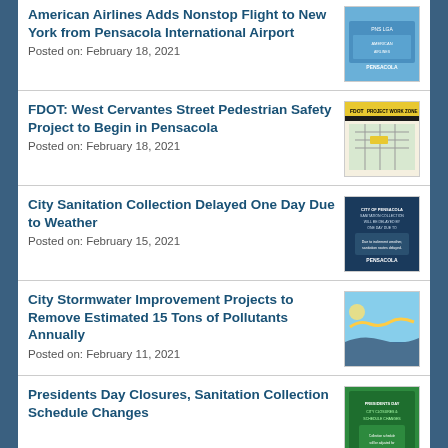American Airlines Adds Nonstop Flight to New York from Pensacola International Airport
Posted on: February 18, 2021
FDOT: West Cervantes Street Pedestrian Safety Project to Begin in Pensacola
Posted on: February 18, 2021
City Sanitation Collection Delayed One Day Due to Weather
Posted on: February 15, 2021
City Stormwater Improvement Projects to Remove Estimated 15 Tons of Pollutants Annually
Posted on: February 11, 2021
Presidents Day Closures, Sanitation Collection Schedule Changes